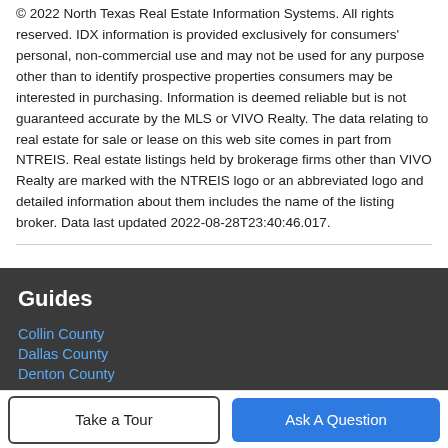© 2022 North Texas Real Estate Information Systems. All rights reserved. IDX information is provided exclusively for consumers' personal, non-commercial use and may not be used for any purpose other than to identify prospective properties consumers may be interested in purchasing. Information is deemed reliable but is not guaranteed accurate by the MLS or VIVO Realty. The data relating to real estate for sale or lease on this web site comes in part from NTREIS. Real estate listings held by brokerage firms other than VIVO Realty are marked with the NTREIS logo or an abbreviated logo and detailed information about them includes the name of the listing broker. Data last updated 2022-08-28T23:40:46.017.
Guides
Collin County
Dallas County
Denton County
Tarrant County
Take a Tour
Ask A Question